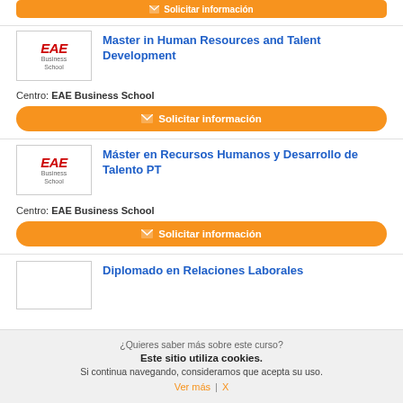[Figure (logo): Partial orange 'Solicitar información' button at top]
[Figure (logo): EAE Business School logo]
Master in Human Resources and Talent Development
Centro: EAE Business School
✉ Solicitar información
[Figure (logo): EAE Business School logo]
Máster en Recursos Humanos y Desarrollo de Talento PT
Centro: EAE Business School
✉ Solicitar información
Diplomado en Relaciones Laborales
¿Quieres saber más sobre este curso?
Este sitio utiliza cookies.
Si continua navegando, consideramos que acepta su uso.
Ver más  |  X